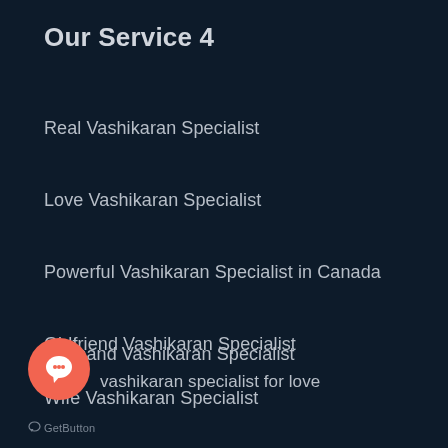Our Service 4
Real Vashikaran Specialist
Love Vashikaran Specialist
Powerful Vashikaran Specialist in Canada
Girlfriend Vashikaran Specialist
Husband Vashikaran Specialist
Wife Vashikaran Specialist
vashikaran specialist for love
[Figure (other): Orange circular chat bubble icon (GetButton widget)]
GetButton